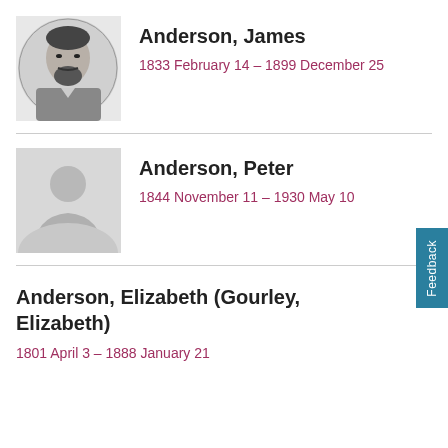[Figure (photo): Black and white portrait photo of James Anderson, elderly man with beard]
Anderson, James
1833 February 14 – 1899 December 25
[Figure (illustration): Placeholder silhouette image for Peter Anderson]
Anderson, Peter
1844 November 11 – 1930 May 10
Anderson, Elizabeth (Gourley, Elizabeth)
1801 April 3 – 1888 January 21